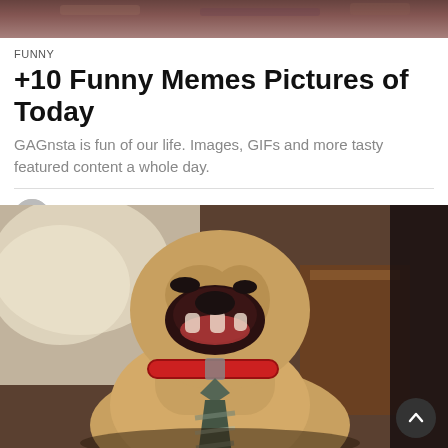[Figure (photo): Top banner image with muted reddish-brown earthy tones]
FUNNY
+10 Funny Memes Pictures of Today
GAGnsta is fun of our life. Images, GIFs and more tasty featured content a whole day.
by Sebastian Ellis 6 months ago
[Figure (photo): A golden/tan dog wearing a red collar and a striped necktie, sitting indoors with mouth open wide, looking funny and dressed up]